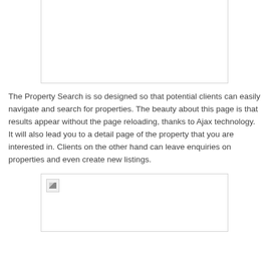[Figure (screenshot): Top image placeholder box with light gray border, content not loaded]
The Property Search is so designed so that potential clients can easily navigate and search for properties. The beauty about this page is that results appear without the page reloading, thanks to Ajax technology. It will also lead you to a detail page of the property that you are interested in. Clients on the other hand can leave enquiries on properties and even create new listings.
[Figure (screenshot): Bottom image placeholder box with broken image icon in top-left corner]